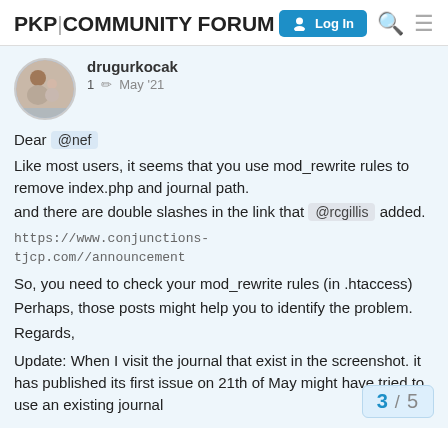PKP|COMMUNITY FORUM
[Figure (screenshot): Forum post by drugurkocak, post number 1, dated May '21. Contains message about mod_rewrite rules, double slashes, a URL https://www.conjunctions-tjcp.com//announcement, advice to check htaccess, and an update about visiting a journal.]
drugurkocak 1 ✏ May '21
Dear @nef
Like most users, it seems that you use mod_rewrite rules to remove index.php and journal path.
and there are double slashes in the link that @rcgillis added.

https://www.conjunctions-tjcp.com//announcement

So, you need to check your mod_rewrite rules (in .htaccess)
Perhaps, those posts might help you to identify the problem.
Regards,

Update: When I visit the journal that exist in the screenshot. it has published its first issue on 21th of May might have tried to use an existing journal
3 / 5